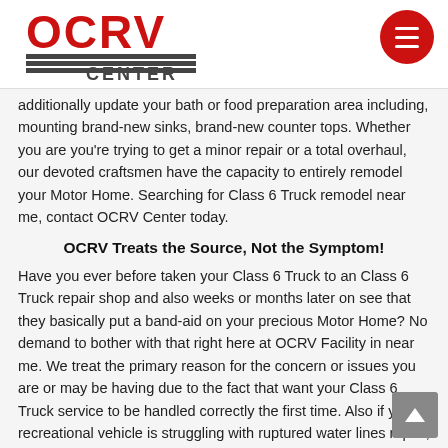OCRV CENTER
additionally update your bath or food preparation area including, mounting brand-new sinks, brand-new counter tops. Whether you are you're trying to get a minor repair or a total overhaul, our devoted craftsmen have the capacity to entirely remodel your Motor Home. Searching for Class 6 Truck remodel near me, contact OCRV Center today.
OCRV Treats the Source, Not the Symptom!
Have you ever before taken your Class 6 Truck to an Class 6 Truck repair shop and also weeks or months later on see that they basically put a band-aid on your precious Motor Home? No demand to bother with that right here at OCRV Facility in near me. We treat the primary reason for the concern or issues you are or may be having due to the fact that want your Class 6 Truck service to be handled correctly the first time. Also if your recreational vehicle is struggling with ruptured water lines repair, Damaged